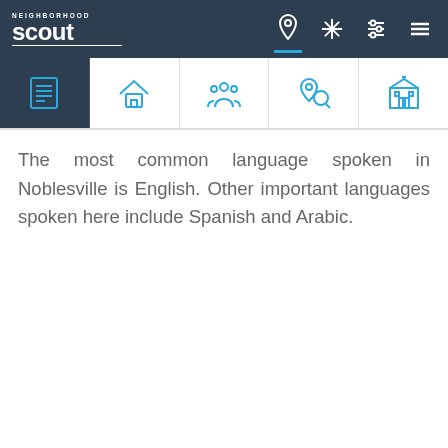Neighborhood Scout - navigation bar with logo and icons
[Figure (screenshot): Tab navigation bar with icons: report/list (active, dark background), house, people/community, location pin with magnifier, building/school]
The most common language spoken in Noblesville is English. Other important languages spoken here include Spanish and Arabic.